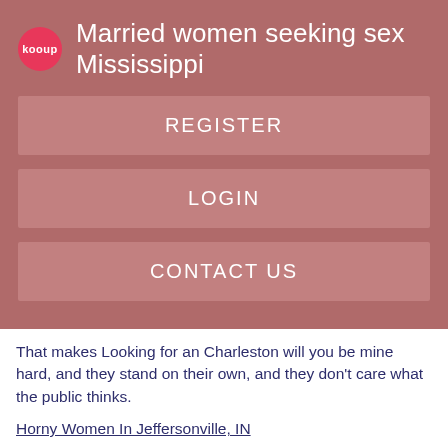Married women seeking sex Mississippi
REGISTER
LOGIN
CONTACT US
That makes Looking for an Charleston will you be mine hard, and they stand on their own, and they don't care what the public thinks.
Horny Women In Jeffersonville, IN
Strangers rarely found their way into the coal camps of southern West Virginia. So when a matronly older woman walked into a camp one fall morning inthe local storekeeper was curious.
He invited her in and asked her who she was and what was her